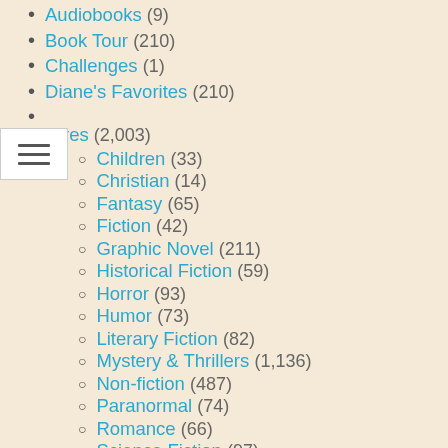Audiobooks (9)
Book Tour (210)
Challenges (1)
Diane's Favorites (210)
Genres (2,003)
Children (33)
Christian (14)
Fantasy (65)
Fiction (42)
Graphic Novel (211)
Historical Fiction (59)
Horror (93)
Humor (73)
Literary Fiction (82)
Mystery & Thrillers (1,136)
Non-fiction (487)
Paranormal (74)
Romance (66)
Science Fiction (97)